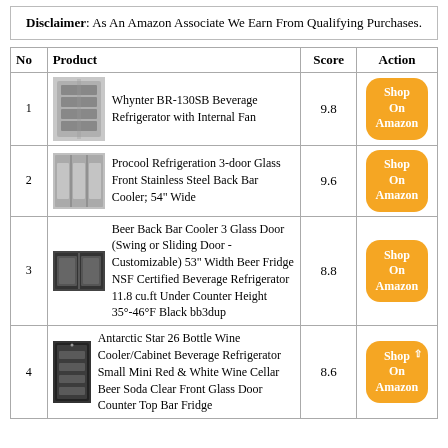Disclaimer: As An Amazon Associate We Earn From Qualifying Purchases.
| No | Product | Score | Action |
| --- | --- | --- | --- |
| 1 | Whynter BR-130SB Beverage Refrigerator with Internal Fan | 9.8 | Shop On Amazon |
| 2 | Procool Refrigeration 3-door Glass Front Stainless Steel Back Bar Cooler; 54" Wide | 9.6 | Shop On Amazon |
| 3 | Beer Back Bar Cooler 3 Glass Door (Swing or Sliding Door -Customizable) 53" Width Beer Fridge NSF Certified Beverage Refrigerator 11.8 cu.ft Under Counter Height 35°-46°F Black bb3dup | 8.8 | Shop On Amazon |
| 4 | Antarctic Star 26 Bottle Wine Cooler/Cabinet Beverage Refrigerator Small Mini Red & White Wine Cellar Beer Soda Clear Front Glass Door Counter Top Bar Fridge | 8.6 | Shop On Amazon |